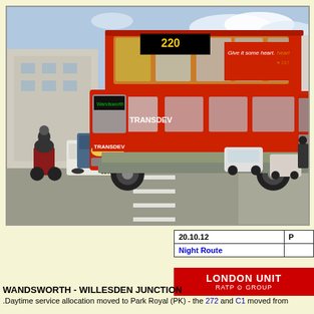[Figure (photo): A red Transdev double-decker bus (route 220, Wandsworth) driving on a street in London. The bus displays 'Give it some heart. hearts.' advertisement. A motorcyclist is visible to the left, cars in the background. Urban street scene with buildings and trees.]
| 20.10.12 | P |
| --- | --- |
| Night Route |  |
[Figure (logo): London United RATP Group logo - red rectangle with white text reading LONDON UNITED and RATP GROUP with roundel icon]
WANDSWORTH - WILLESDEN JUNCTION
.Daytime service allocation moved to Park Royal (PK) - the 272 and C1 moved from